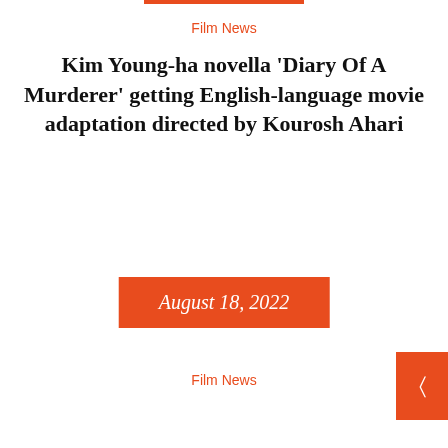Film News
Kim Young-ha novella 'Diary Of A Murderer' getting English-language movie adaptation directed by Kourosh Ahari
August 18, 2022
Film News